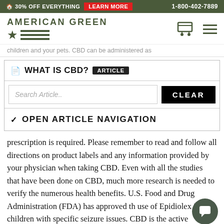🏠 30% OFF EVERYTHING   LEARN MORE   1-800-402-7889
[Figure (logo): American Green logo with star and horizontal stripes, cart and hamburger menu icons on the right]
children and your pets. CBD can be administered as
WHAT IS CBD? ARTICLE
Search Article..  CLEAR
▼ OPEN ARTICLE NAVIGATION
prescription is required. Please remember to read and follow all directions on product labels and any information provided by your physician when taking CBD. Even with all the studies that have been done on CBD, much more research is needed to verify the numerous health benefits. U.S. Food and Drug Administration (FDA) has approved the use of Epidiolex in children with specific seizure issues. CBD is the active ingredient in Epidiolex